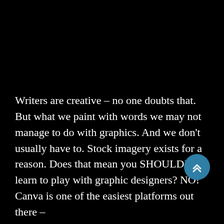[Figure (other): Large black area occupying the top portion of the page, representing a dark background or image]
Writers are creative – no one doubts that. But what we paint with words we may not manage to do with graphics. And we don't usually have to. Stock imagery exists for a reason. Does that mean you SHOULDN'T learn to play with graphic designers? NO! Canva is one of the easiest platforms out there –